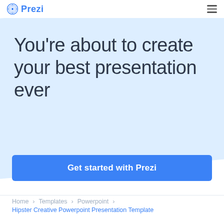Prezi
You're about to create your best presentation ever
Get started with Prezi
Home > Templates > Powerpoint > Hipster Creative Powerpoint Presentation Template